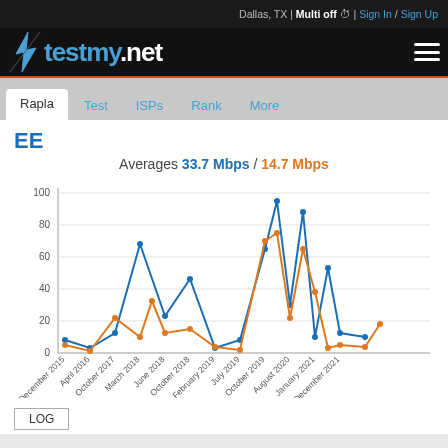Dallas, TX | Multi off | Sign In / Sign Up
[Figure (logo): testmy.net logo with lightning bolt]
Rapla | Test | ISPs | Rank | More
EE
Averages 33.7 Mbps / 14.7 Mbps
[Figure (line-chart): EE Speed Averages]